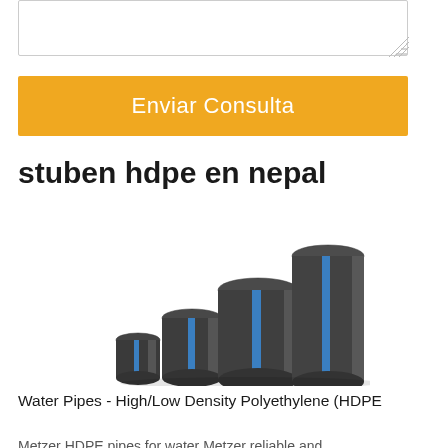[Figure (other): Empty textarea input box with resize handle in bottom-right corner]
Enviar Consulta
stuben hdpe en nepal
[Figure (photo): Four dark grey HDPE water pipes of increasing sizes arranged side by side, each with a blue vertical stripe]
Water Pipes - High/Low Density Polyethylene (HDPE
Metzer HDPE pipes for water Metzer reliable and